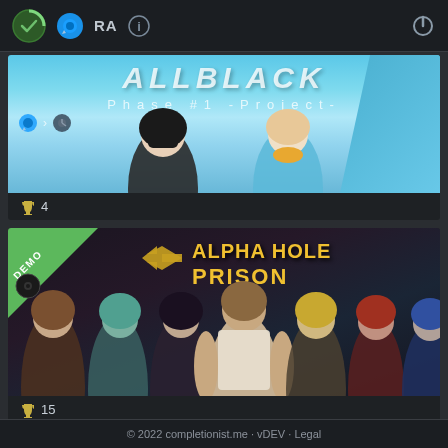Navigation bar with completionist, Steam, RA, info icons and power button
[Figure (screenshot): ALLBLACK Phase #1 -Project- anime visual novel game banner with steam sub-icons and two anime characters against blue sky]
🏆 4
[Figure (screenshot): Alpha Hole Prison game banner with DEMO badge, multiple anime male characters in dark background]
🏆 15
© 2022 completionist.me · vDEV · Legal